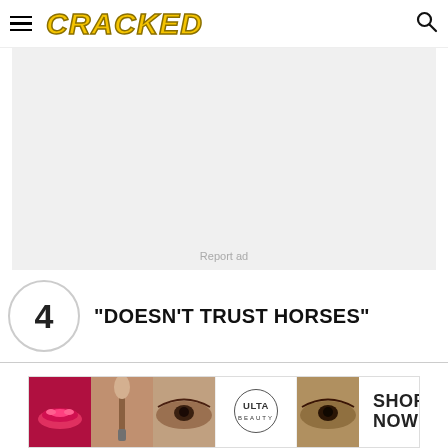CRACKED
[Figure (other): Advertisement placeholder box with light gray background and 'Report ad' text in center-bottom]
4 "DOESN'T TRUST HORSES"
[Figure (other): Ulta Beauty advertisement banner with makeup/beauty images and 'SHOP NOW' call to action]